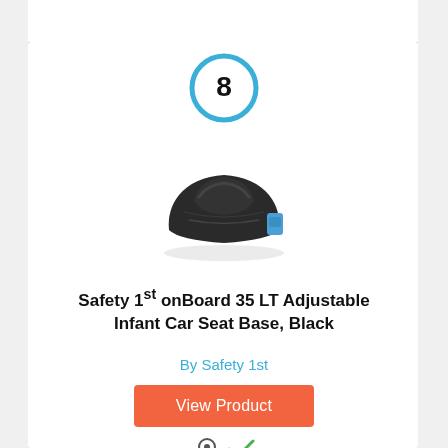[Figure (other): Number 8 inside a light blue circle badge]
[Figure (photo): Safety 1st onBoard 35 LT Adjustable Infant Car Seat Base in black, product photo]
Safety 1st onBoard 35 LT Adjustable Infant Car Seat Base, Black
By Safety 1st
View Product